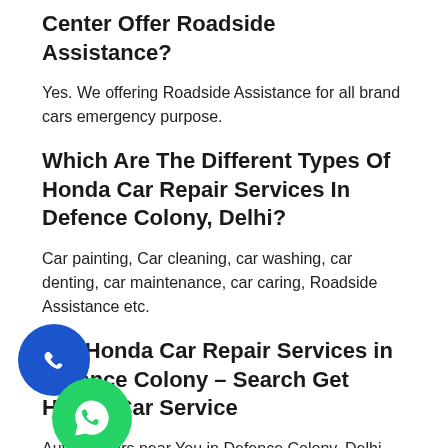Center Offer Roadside Assistance?
Yes. We offering Roadside Assistance for all brand cars emergency purpose.
Which Are The Different Types Of Honda Car Repair Services In Defence Colony, Delhi?
Car painting, Car cleaning, car washing, car denting, car maintenance, car caring, Roadside Assistance etc.
Get Honda Car Repair Services in Defence Colony – Search Get Honda Car Service
Auto Repairs near You in Defence Colony, Delhi – Search Better & Smarter Here! 1000+ Visitors. Get Back On Road Sooner with the Help of Our Local my car Experts.
Contact us for more